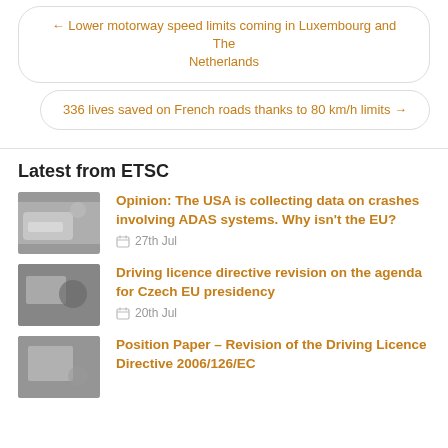← Lower motorway speed limits coming in Luxembourg and The Netherlands
336 lives saved on French roads thanks to 80 km/h limits →
Latest from ETSC
Opinion: The USA is collecting data on crashes involving ADAS systems. Why isn't the EU? — 27th Jul
Driving licence directive revision on the agenda for Czech EU presidency — 20th Jul
Position Paper – Revision of the Driving Licence Directive 2006/126/EC